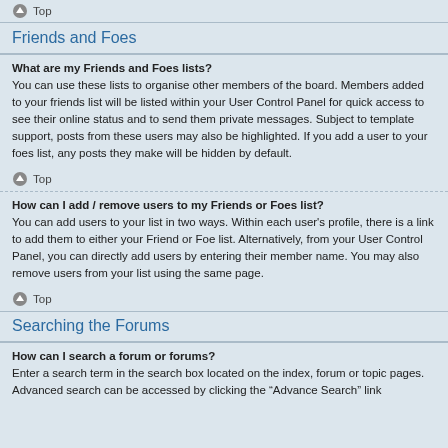Top
Friends and Foes
What are my Friends and Foes lists?
You can use these lists to organise other members of the board. Members added to your friends list will be listed within your User Control Panel for quick access to see their online status and to send them private messages. Subject to template support, posts from these users may also be highlighted. If you add a user to your foes list, any posts they make will be hidden by default.
Top
How can I add / remove users to my Friends or Foes list?
You can add users to your list in two ways. Within each user's profile, there is a link to add them to either your Friend or Foe list. Alternatively, from your User Control Panel, you can directly add users by entering their member name. You may also remove users from your list using the same page.
Top
Searching the Forums
How can I search a forum or forums?
Enter a search term in the search box located on the index, forum or topic pages. Advanced search can be accessed by clicking the “Advance Search” link